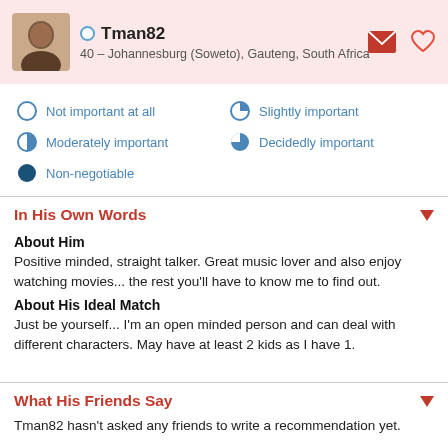Tman82 — 40 – Johannesburg (Soweto), Gauteng, South Africa
[Figure (infographic): Legend showing importance levels: Not important at all (empty circle), Slightly important (quarter-filled circle), Moderately important (half-filled circle), Decidedly important (three-quarter filled circle), Non-negotiable (full circle)]
In His Own Words
About Him
Positive minded, straight talker. Great music lover and also enjoy watching movies... the rest you'll have to know me to find out.
About His Ideal Match
Just be yourself... I'm an open minded person and can deal with different characters. May have at least 2 kids as I have 1.
What His Friends Say
Tman82 hasn't asked any friends to write a recommendation yet.